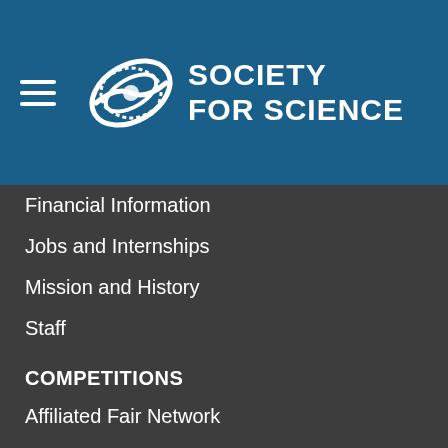[Figure (logo): Society for Science logo with stylized circular S graphic and text reading SOCIETY FOR SCIENCE in white on blue background, with hamburger menu icon on left]
Financial Information
Jobs and Internships
Mission and History
Staff
COMPETITIONS
Affiliated Fair Network
Alumni
Broadcom MASTERS
Regeneron ISEF
Regeneron Science Talent Search
GET INVOLVED
Individual Giving